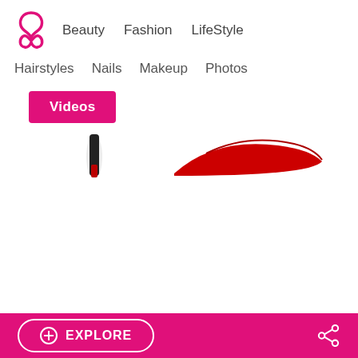Beauty  Fashion  LifeStyle
Hairstyles  Nails  Makeup  Photos
Videos
[Figure (photo): Partial view of red platform shoes/heels against a white background]
fashion, shoes, Spring, platform, sandals, collection, designer, shoe, brand, Nicholas Kirkwood
EXPLORE  [share icon]